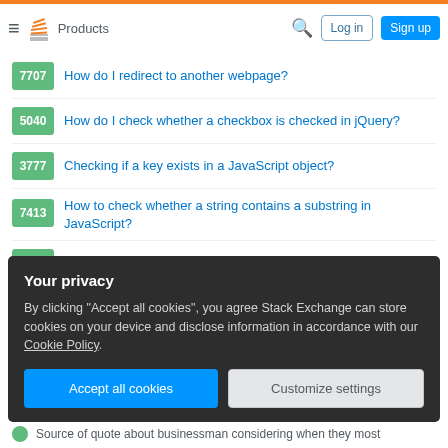Stack Overflow — Products | Log in | Sign up
7707 — How do I redirect to another webpage?
5040 — How do I check whether a checkbox is checked in jQuery?
3777 — Checking if a key exists in a JavaScript object?
7413 — How to check whether a string contains a substring in JavaScript?
2222 — JavaScript check if variable exists (is defined/initialized)
10855 — How can I remove a specific item from an array?
Hot Network Questions
Your privacy
By clicking "Accept all cookies", you agree Stack Exchange can store cookies on your device and disclose information in accordance with our Cookie Policy.
Accept all cookies | Customize settings
Source of quote about businessman considering when they most...